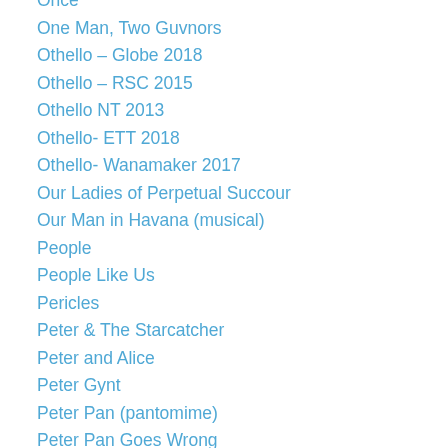Once
One Man, Two Guvnors
Othello – Globe 2018
Othello – RSC 2015
Othello NT 2013
Othello- ETT 2018
Othello- Wanamaker 2017
Our Ladies of Perpetual Succour
Our Man in Havana (musical)
People
People Like Us
Pericles
Peter & The Starcatcher
Peter and Alice
Peter Gynt
Peter Pan (pantomime)
Peter Pan Goes Wrong
Photograph 51
Pitcairn
Plastic